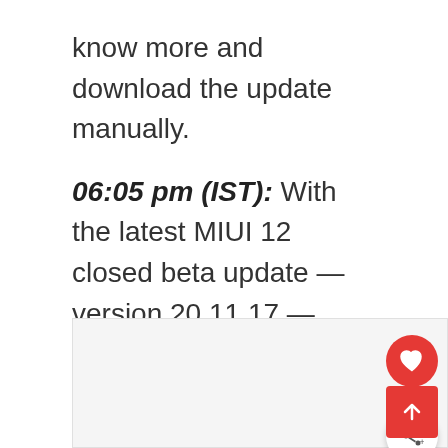know more and download the update manually.
06:05 pm (IST): With the latest MIUI 12 closed beta update — version 20.11.17 — Xiaomi has introduced a new Power Menu design. See the new Power Menu in action here.
[Figure (screenshot): Partial screenshot or image placeholder at the bottom of the article]